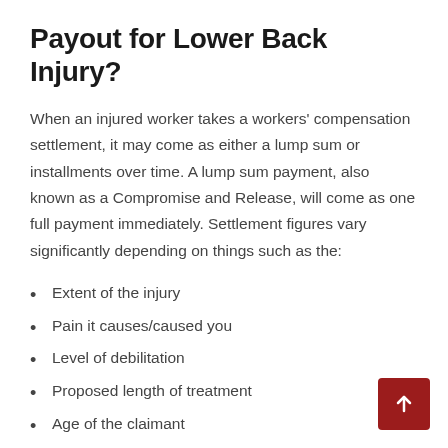Payout for Lower Back Injury?
When an injured worker takes a workers' compensation settlement, it may come as either a lump sum or installments over time. A lump sum payment, also known as a Compromise and Release, will come as one full payment immediately. Settlement figures vary significantly depending on things such as the:
Extent of the injury
Pain it causes/caused you
Level of debilitation
Proposed length of treatment
Age of the claimant
Occupation of the claimant